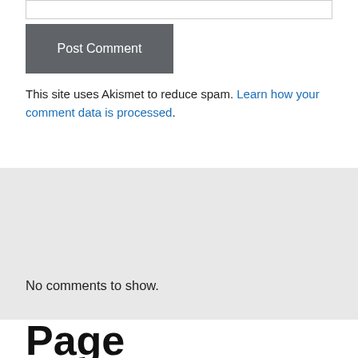Post Comment
This site uses Akismet to reduce spam. Learn how your comment data is processed.
No comments to show.
Page